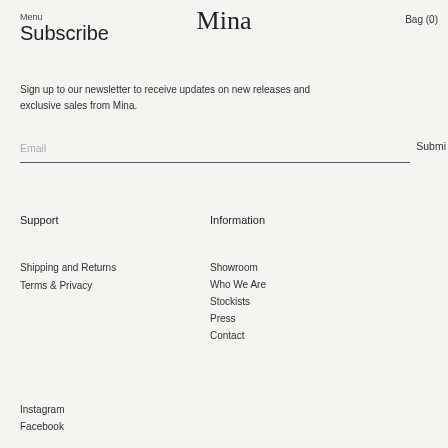Menu
Mina
Subscribe
Bag (0)
Sign up to our newsletter to receive updates on new releases and exclusive sales from Mina.
Email
Submit
Support
Information
Shipping and Returns
Terms & Privacy
Showroom
Who We Are
Stockists
Press
Contact
Instagram
Facebook